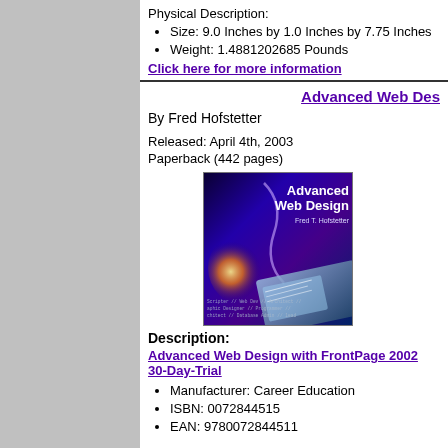Physical Description:
Size: 9.0 Inches by 1.0 Inches by 7.75 Inches
Weight: 1.4881202685 Pounds
Click here for more information
Advanced Web Des...
By Fred Hofstetter
Released: April 4th, 2003
Paperback (442 pages)
[Figure (photo): Book cover of Advanced Web Design by Fred T. Hofstetter, showing blue/purple digital background with glowing orb and keyboard, McGraw-Hill]
Description:
Advanced Web Design with FrontPage 2002 30-Day-Trial
Manufacturer: Career Education
ISBN: 0072844515
EAN: 9780072844511